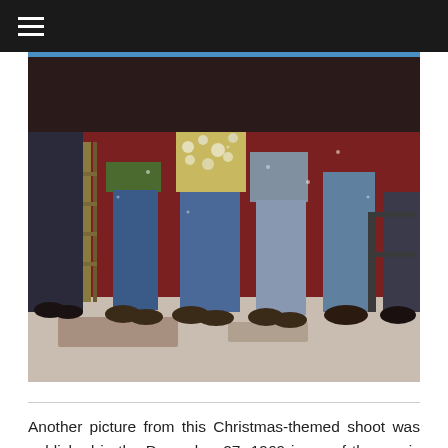≡
[Figure (photo): A cropped Christmas-themed photo showing the lower bodies and feet of several people standing together. The people are wearing colourful 1960s-style clothing — blue jeans, a floral top, a green jacket — and dark shoes/boots. They are standing on what appears to be a light-coloured floor against a red backdrop.]
Another picture from this Christmas-themed shoot was published in the December 27, 1969 issue of the music industry trade magazine Cash Box: